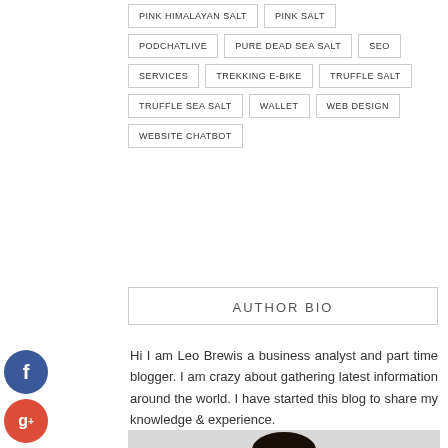PINK HIMALAYAN SALT
PINK SALT
PODCHATLIVE
PURE DEAD SEA SALT
SEO
SERVICES
TREKKING E-BIKE
TRUFFLE SALT
TRUFFLE SEA SALT
WALLET
WEB DESIGN
WEBSITE CHATBOT
AUTHOR BIO
Hi I am Leo Brewis a business analyst and part time blogger. I am crazy about gathering latest information around the world. I have started this blog to share my knowledge & experience.
[Figure (photo): Author headshot photo]